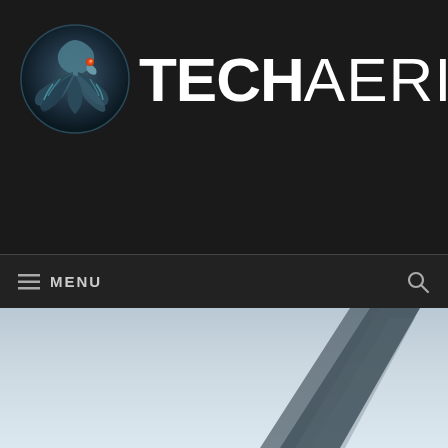[Figure (logo): TechAeris logo with eagle icon and bold TECH AERIS text on dark background]
≡  MENU
[Figure (photo): Partial view of a dark tablet or device against a light grey/blue background]